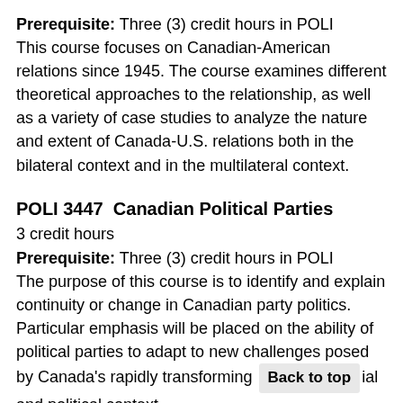Prerequisite: Three (3) credit hours in POLI This course focuses on Canadian-American relations since 1945. The course examines different theoretical approaches to the relationship, as well as a variety of case studies to analyze the nature and extent of Canada-U.S. relations both in the bilateral context and in the multilateral context.
POLI 3447  Canadian Political Parties
3 credit hours
Prerequisite: Three (3) credit hours in POLI The purpose of this course is to identify and explain continuity or change in Canadian party politics. Particular emphasis will be placed on the ability of political parties to adapt to new challenges posed by Canada's rapidly transforming [Back to top] ial and political context.